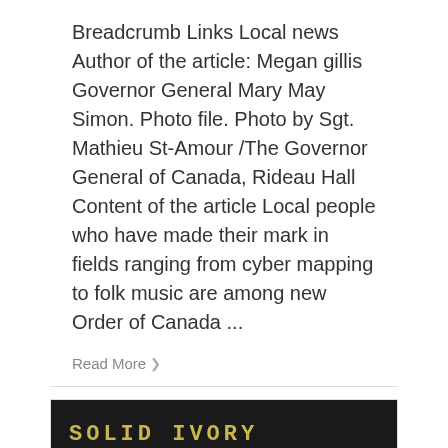Breadcrumb Links Local news Author of the article: Megan gillis Governor General Mary May Simon. Photo file. Photo by Sgt. Mathieu St-Amour /The Governor General of Canada, Rideau Hall Content of the article Local people who have made their mark in fields ranging from cyber mapping to folk music are among new Order of Canada ...
Read More
[Figure (photo): A composite image showing the book cover of 'Solid Ivory: a memoir' by James Ivory (left side, with film strip design and dark background) and a black-and-white photograph of an elderly man with white hair wearing glasses and a tan jacket, shown in profile (right side).]